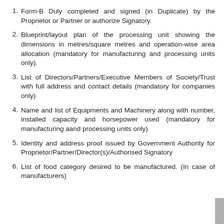Form-B Duly completed and signed (in Duplicate) by the Proprietor or Partner or authorize Signatory.
Blueprint/layout plan of the processing unit showing the dimensions in metres/square metres and operation-wise area allocation (mandatory for manufacturing and processing units only).
List of Directors/Partners/Executive Members of Society/Trust with full address and contact details (mandatory for companies only)
Name and list of Equipments and Machinery along with number, installed capacity and horsepower used (mandatory for manufacturing aand processing units only)
Identity and address proof issued by Government Authority for Proprietor/Partner/Director(s)/Authorised Signatory
List of food category desired to be manufactured. (In case of manufacturers)